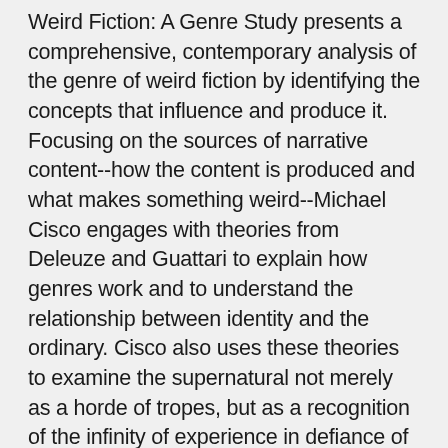Weird Fiction: A Genre Study presents a comprehensive, contemporary analysis of the genre of weird fiction by identifying the concepts that influence and produce it. Focusing on the sources of narrative content--how the content is produced and what makes something weird--Michael Cisco engages with theories from Deleuze and Guattari to explain how genres work and to understand the relationship between identity and the ordinary. Cisco also uses these theories to examine the supernatural not merely as a horde of tropes, but as a recognition of the infinity of experience in defiance of limiting norms. The book also traces the sociopolitical implications of weird fiction, studying the differentiation of major and minor literatures. Through an articulated